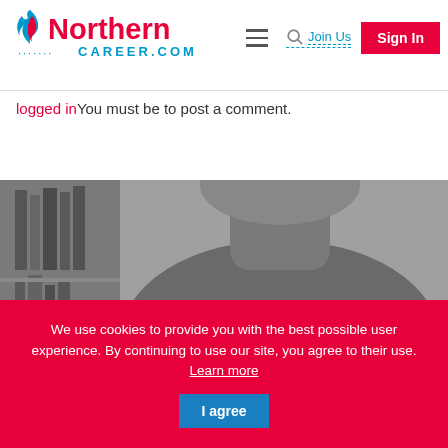[Figure (logo): Northern Career.com logo with flame icon, red and blue colors]
logged in You must be to post a comment.
[Figure (photo): Black and white photo of a person wearing a t-shirt with text 'FREQUENTLY', bookshelf in background]
We use cookies to provide you with the best possible user experience. By continuing to use our site, you agree to their use. Learn more  I agree